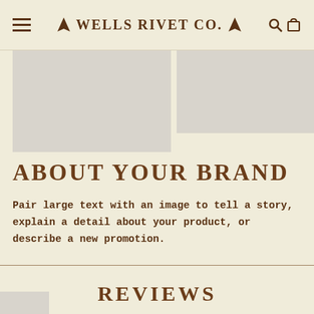≡ ✦ WELLS RIVET CO. ✦ 🔍 🛍
[Figure (photo): Two image placeholders side by side: a larger gray rectangle on the left and a smaller gray rectangle on the right]
ABOUT YOUR BRAND
Pair large text with an image to tell a story, explain a detail about your product, or describe a new promotion.
REVIEWS